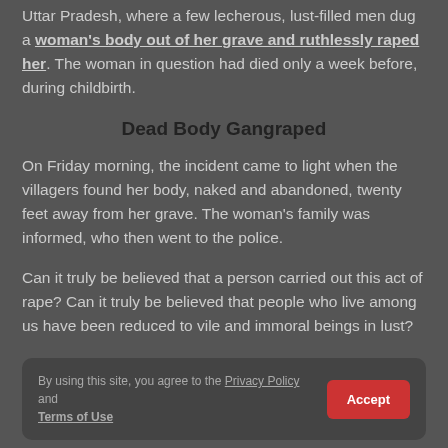Uttar Pradesh, where a few lecherous, lust-filled men dug a woman's body out of her grave and ruthlessly raped her. The woman in question had died only a week before, during childbirth.
Dead Body Gangraped
On Friday morning, the incident came to light when the villagers found her body, naked and abandoned, twenty feet away from her grave. The woman's family was informed, who then went to the police.
Can it truly be believed that a person carried out this act of rape? Can it truly be believed that people who live among us have been reduced to vile and immoral beings in lust?
By using this site, you agree to the Privacy Policy and Terms of Use   Accept